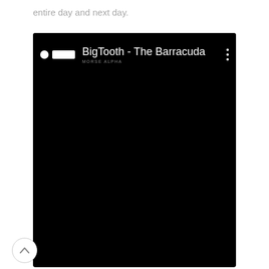entire day and next day.
[Figure (screenshot): A smartphone screen showing a video player app with a dark/black screen. The app bar at the top shows a white circle icon, a white rectangle icon, and the text 'BigTooth - The Barracuda' with a three-dot menu icon on the right. Below the app bar text there is small text reading 'MORSE ALPHA'. The rest of the screen is black.]